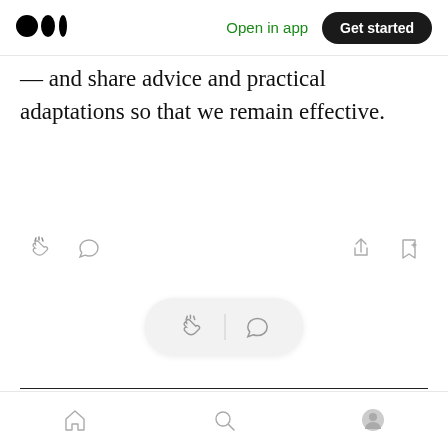Medium logo | Open in app | Get started
— and share advice and practical adaptations so that we remain effective.
[Figure (other): Article action bar with clap icon, comment icon on the left and share icon, save/bookmark icon on the right]
[Figure (other): Floating pill with clap icon and comment icon]
Get an email whenever danramsden publishes.
Bottom nav bar with home, search, and profile icons